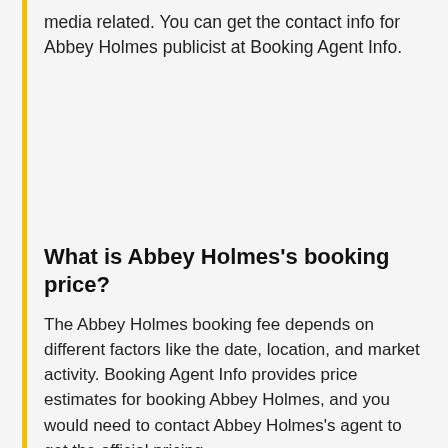media related. You can get the contact info for Abbey Holmes publicist at Booking Agent Info.
What is Abbey Holmes's booking price?
The Abbey Holmes booking fee depends on different factors like the date, location, and market activity. Booking Agent Info provides price estimates for booking Abbey Holmes, and you would need to contact Abbey Holmes's agent to get the official pricing.